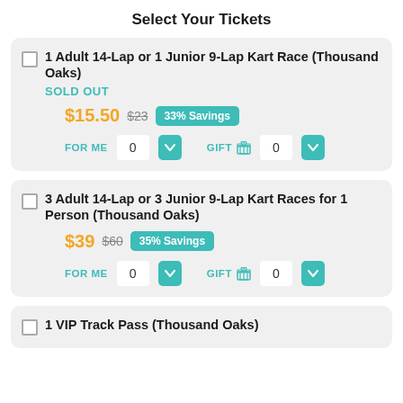Select Your Tickets
1 Adult 14-Lap or 1 Junior 9-Lap Kart Race (Thousand Oaks)
SOLD OUT
$15.50  $23  33% Savings
FOR ME  0  GIFT  0
3 Adult 14-Lap or 3 Junior 9-Lap Kart Races for 1 Person (Thousand Oaks)
$39  $60  35% Savings
FOR ME  0  GIFT  0
1 VIP Track Pass (Thousand Oaks)